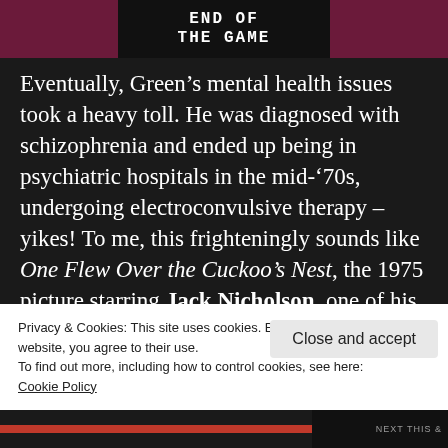END OF THE GAME
Eventually, Green’s mental health issues took a heavy toll. He was diagnosed with schizophrenia and ended up being in psychiatric hospitals in the mid-’70s, undergoing electroconvulsive therapy – yikes! To me, this frighteningly sounds like One Flew Over the Cuckoo’s Nest, the 1975 picture starring Jack Nicholson, one of his best performances I’ve ever watched. Luckily, Green reemerged
Privacy & Cookies: This site uses cookies. By continuing to use this website, you agree to their use.
To find out more, including how to control cookies, see here: Cookie Policy
Close and accept